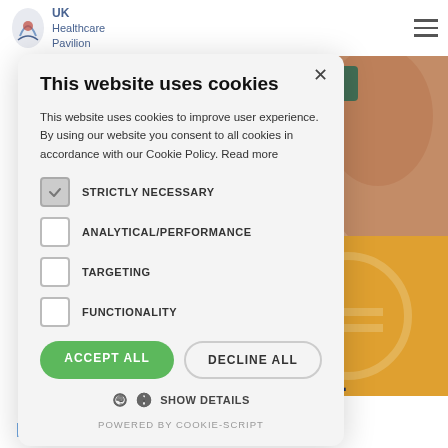UK Healthcare Pavilion
[Figure (screenshot): Cookie consent modal overlay on UK Healthcare Pavilion website. Background shows partial photo of a person's neck/shoulder and a yellow badge icon. Modal titled 'This website uses cookies' with checkboxes for Strictly Necessary (checked), Analytical/Performance, Targeting, Functionality, plus Accept All and Decline All buttons, Show Details link, and Powered by Cookie-Script footer.]
This website uses cookies
This website uses cookies to improve user experience. By using our website you consent to all cookies in accordance with our Cookie Policy. Read more
STRICTLY NECESSARY
ANALYTICAL/PERFORMANCE
TARGETING
FUNCTIONALITY
ACCEPT ALL
DECLINE ALL
SHOW DETAILS
POWERED BY COOKIE-SCRIPT
READ MORE